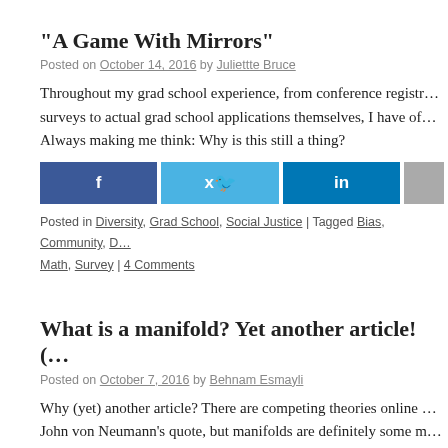“A Game With Mirrors”
Posted on October 14, 2016 by Juliettte Bruce
Throughout my grad school experience, from conference registrations, to surveys to actual grad school applications themselves, I have of… Always making me think: Why is this still a thing?
[Figure (other): Social share buttons: Facebook (f), Twitter (bird), LinkedIn (in), and a fourth partially visible button]
Posted in Diversity, Grad School, Social Justice | Tagged Bias, Community, D… Math, Survey | 4 Comments
What is a manifold? Yet another article! (…
Posted on October 7, 2016 by Behnam Esmayli
Why (yet) another article? There are competing theories online … John von Neumann’s quote, but manifolds are definitely some m… understand … you just get used to them,” — at least for a while…